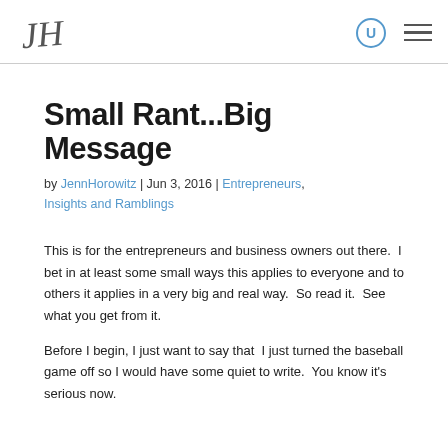JennHorowitz logo, search icon, menu icon
Small Rant...Big Message
by JennHorowitz | Jun 3, 2016 | Entrepreneurs, Insights and Ramblings
This is for the entrepreneurs and business owners out there.  I bet in at least some small ways this applies to everyone and to others it applies in a very big and real way.  So read it.  See what you get from it.
Before I begin, I just want to say that  I just turned the baseball game off so I would have some quiet to write.  You know it's serious now.